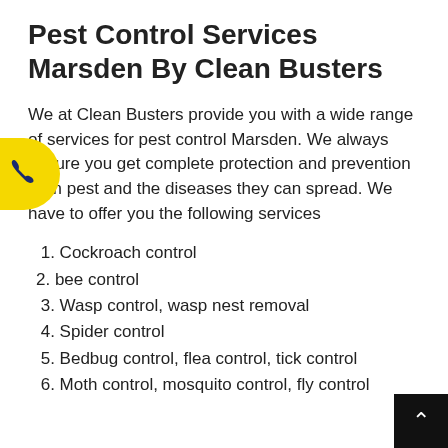Pest Control Services Marsden By Clean Busters
We at Clean Busters provide you with a wide range of services for pest control Marsden. We always ensure you get complete protection and prevention from pest and the diseases they can spread. We have to offer you the following services
1. Cockroach control
2. bee control
3. Wasp control, wasp nest removal
4. Spider control
5. Bedbug control, flea control, tick control
6. Moth control, mosquito control, fly control